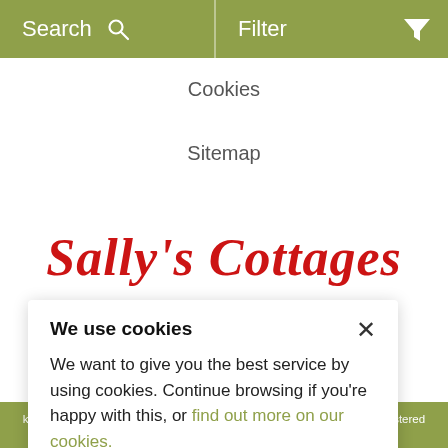Search   Filter
Cookies
Sitemap
[Figure (logo): Sally's Cottages brand logo in red italic script font]
[Figure (infographic): Social media icons: Facebook, Twitter, Instagram in olive green]
We use cookies
We want to give you the best service by using cookies. Continue browsing if you're happy with this, or find out more on our cookies.
k | The Travel Chapter Limited is registered in England and Wales. | Registered office Travel